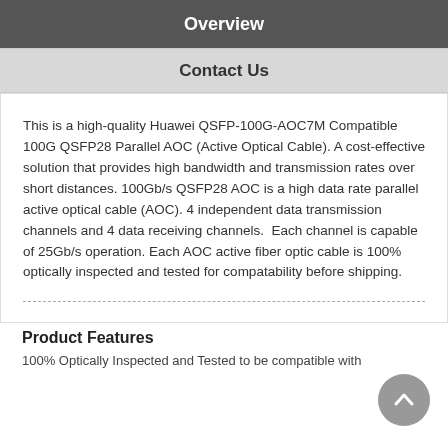Overview
Contact Us
This is a high-quality Huawei QSFP-100G-AOC7M Compatible 100G QSFP28 Parallel AOC (Active Optical Cable). A cost-effective solution that provides high bandwidth and transmission rates over short distances. 100Gb/s QSFP28 AOC is a high data rate parallel active optical cable (AOC). 4 independent data transmission channels and 4 data receiving channels.  Each channel is capable of 25Gb/s operation. Each AOC active fiber optic cable is 100% optically inspected and tested for compatability before shipping.
Product Features
100% Optically Inspected and Tested to be compatible with